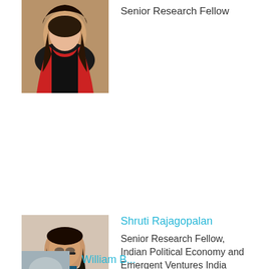[Figure (photo): Headshot of a young woman with long dark hair, wearing a red and black outfit, smiling.]
Senior Research Fellow
[Figure (photo): Headshot of Shruti Rajagopalan, a woman with glasses and dark hair, wearing a black blazer over a blue top.]
Shruti Rajagopalan
Senior Research Fellow, Indian Political Economy and Emergent Ventures India
[Figure (photo): Partial headshot of a third person, partially cropped at the bottom of the page.]
William B...